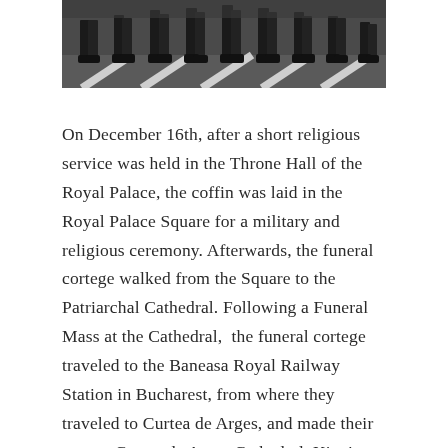[Figure (photo): Black and white photo showing the feet and lower legs of people walking, likely a procession or march on a street with road markings visible.]
On December 16th, after a short religious service was held in the Throne Hall of the Royal Palace, the coffin was laid in the Royal Palace Square for a military and religious ceremony. Afterwards, the funeral cortege walked from the Square to the Patriarchal Cathedral. Following a Funeral Mass at the Cathedral,  the funeral cortege traveled to the Baneasa Royal Railway Station in Bucharest, from where they traveled to Curtea de Arges, and made their way to Curtea de Arges Cathedral. King's Michael coffin was laid on a catafalque in the Cathedral, before a short religious service, and then a funeral procession from the Cathedral to the New Episcopal and Royal Cathedral for the private burial